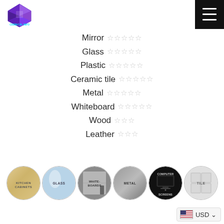[Figure (logo): Purple 3D gem/cube logo with colorful text below]
[Figure (screenshot): Hamburger menu icon button (three white lines on black background)]
Mirror ☆☆☆☆☆
Glass ☆☆☆☆☆
Plastic ☆☆☆☆☆
Ceramic tile ☆☆☆☆☆
Metal ☆☆☆☆☆
Whiteboard ☆☆☆☆☆
Wood ☆☆☆
Leather ☆☆☆
[Figure (illustration): Six circular product category icons: Kitchen Cabinets (wood), Glass, Whiteboards (metal surface), Metal, Computer Screens (black iMac), Tile (white grid)]
USD ▾